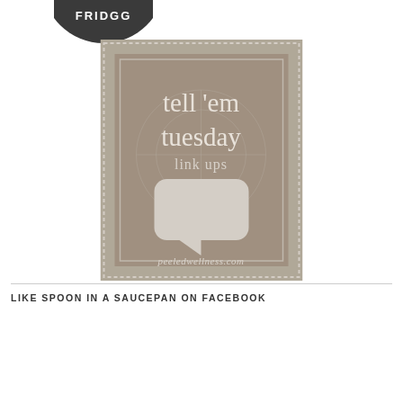[Figure (logo): Partial dark circular badge/stamp with text FRIDGG at the top]
[Figure (logo): Square badge image with dotted border on beige/taupe background reading 'tell 'em tuesday link ups' with a speech bubble icon and text 'peeledwellness.com']
LIKE SPOON IN A SAUCEPAN ON FACEBOOK